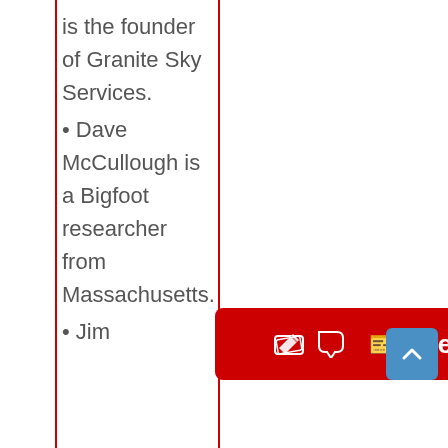is the founder of Granite Sky Services.
• Dave McCullough is a Bigfoot researcher from Massachusetts.
• Jim